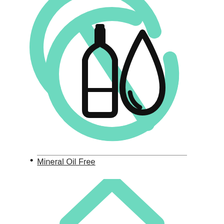[Figure (illustration): A circular 'no' symbol (circle with a diagonal slash) in mint/teal green, containing a black icon of an oil bottle and a water/oil drop shape, representing Mineral Oil Free.]
Mineral Oil Free
[Figure (illustration): Partial mint/teal green chevron/arrow pointing upward, bottom portion of page, part of another icon.]